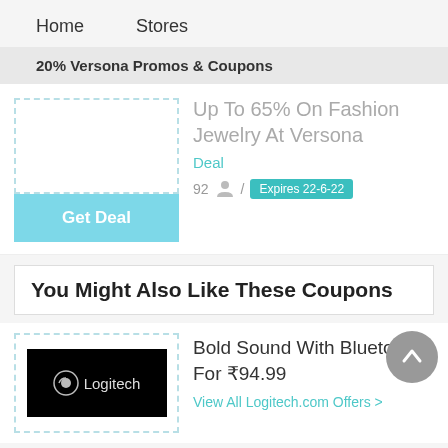Home   Stores
20% Versona Promos & Coupons
Up To 65% On Fashion Jewelry At Versona
Deal
92  /  Expires 22-6-22
Get Deal
You Might Also Like These Coupons
[Figure (logo): Logitech logo on black background]
Bold Sound With Bluetooth For ₹94.99
View All Logitech.com Offers >